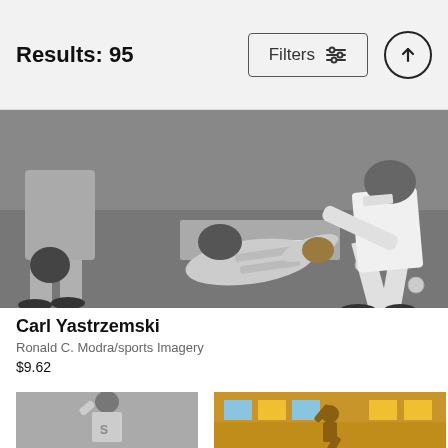Results: 95
Filters
[Figure (photo): Black and white baseball photo showing Carl Yastrzemski sliding into base with fielder reaching to tag him and umpire watching]
Carl Yastrzemski
Ronald C. Modra/sports Imagery
$9.62
[Figure (photo): Black and white photo of baseball player in white uniform with S logo, arm raised]
[Figure (photo): Color photo of baseball statue/sculpture in pitching pose in front of building with orange/yellow windows]